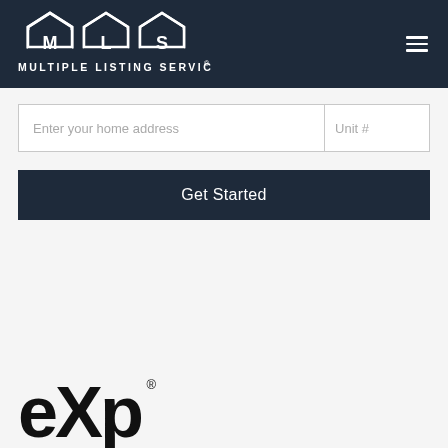[Figure (logo): MLS Multiple Listing Service logo — three white house icons with letters M, L, S inside them, with 'MULTIPLE LISTING SERVICE®' text below, on dark navy background]
Enter your home address
Unit #
Get Started
[Figure (logo): eXp logo in large bold black text with registered trademark symbol]